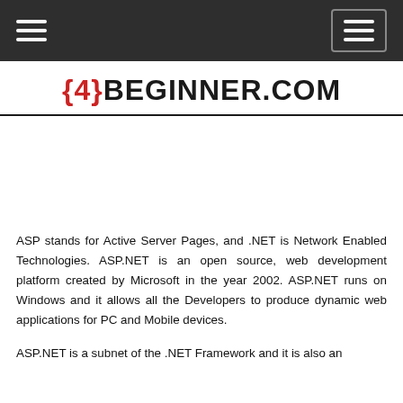{4}BEGINNER.COM
[Figure (other): Advertisement/banner area (blank white space)]
ASP stands for Active Server Pages, and .NET is Network Enabled Technologies. ASP.NET is an open source, web development platform created by Microsoft in the year 2002. ASP.NET runs on Windows and it allows all the Developers to produce dynamic web applications for PC and Mobile devices.
ASP.NET is a subnet of the .NET Framework and it is also an